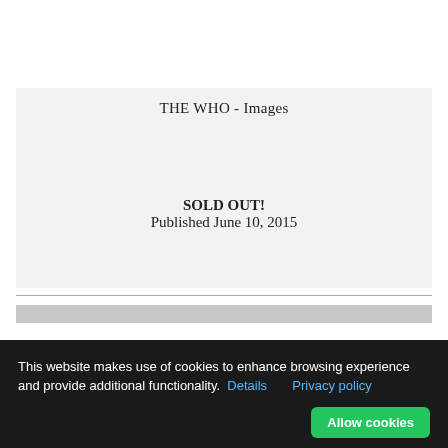THE WHO - Images
SOLD OUT!
Published June 10, 2015
This website makes use of cookies to enhance browsing experience and provide additional functionality.  Details   Privacy policy   Allow cookies